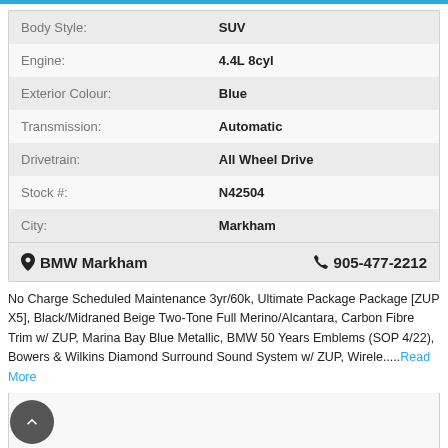| Label | Value |
| --- | --- |
| Body Style: | SUV |
| Engine: | 4.4L 8cyl |
| Exterior Colour: | Blue |
| Transmission: | Automatic |
| Drivetrain: | All Wheel Drive |
| Stock #: | N42504 |
| City: | Markham |
BMW Markham   905-477-2212
No Charge Scheduled Maintenance 3yr/60k, Ultimate Package Package [ZUP X5], Black/Midraned Beige Two-Tone Full Merino/Alcantara, Carbon Fibre Trim w/ ZUP, Marina Bay Blue Metallic, BMW 50 Years Emblems (SOP 4/22), Bowers & Wilkins Diamond Surround Sound System w/ ZUP, Wirele.....Read More